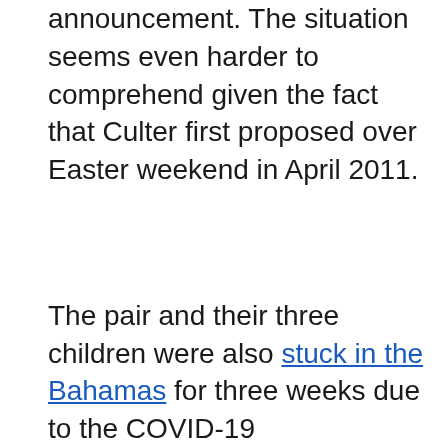announcement. The situation seems even harder to comprehend given the fact that Culter first proposed over Easter weekend in April 2011.
The pair and their three children were also stuck in the Bahamas for three weeks due to the COVID-19